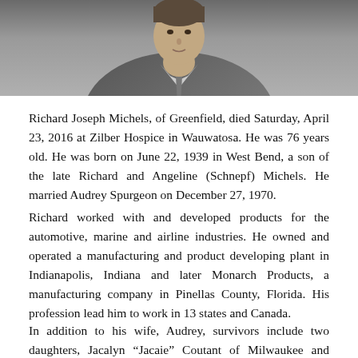[Figure (photo): Black and white photo of a man in a suit, cropped to show upper body and face, partially visible at top of page]
Richard Joseph Michels, of Greenfield, died Saturday, April 23, 2016 at Zilber Hospice in Wauwatosa. He was 76 years old. He was born on June 22, 1939 in West Bend, a son of the late Richard and Angeline (Schnepf) Michels. He married Audrey Spurgeon on December 27, 1970.
Richard worked with and developed products for the automotive, marine and airline industries. He owned and operated a manufacturing and product developing plant in Indianapolis, Indiana and later Monarch Products, a manufacturing company in Pinellas County, Florida. His profession lead him to work in 13 states and Canada.
In addition to his wife, Audrey, survivors include two daughters, Jacalyn "Jacaie" Coutant of Milwaukee and Robin (Michael) Shull